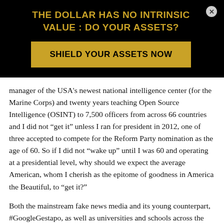THE DOLLAR HAS NO INTRINSIC VALUE : DO YOUR ASSETS?
SHIELD YOUR ASSETS NOW
manager of the USA’s newest national intelligence center (for the Marine Corps) and twenty years teaching Open Source Intelligence (OSINT) to 7,500 officers from across 66 countries and I did not “get it” unless I ran for president in 2012, one of three accepted to compete for the Reform Party nomination as the age of 60. So if I did not “wake up” until I was 60 and operating at a presidential level, why should we expect the average American, whom I cherish as the epitome of goodness in America the Beautiful, to “get it?”
Both the mainstream fake news media and its young counterpart, #GoogleGestapo, as well as universities and schools across the land, are in the propaganda business. Below are some titles of books that summarize the